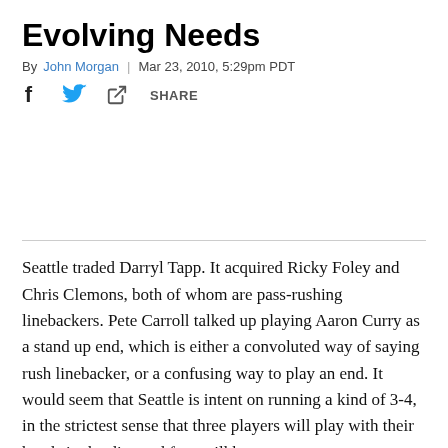Evolving Needs
By John Morgan | Mar 23, 2010, 5:29pm PDT
[Figure (other): Social share icons: Facebook, Twitter, and a share button with SHARE label]
Seattle traded Darryl Tapp. It acquired Ricky Foley and Chris Clemons, both of whom are pass-rushing linebackers. Pete Carroll talked up playing Aaron Curry as a stand up end, which is either a convoluted way of saying rush linebacker, or a confusing way to play an end. It would seem that Seattle is intent on running a kind of 3-4, in the strictest sense that three players will play with their hands in the dirt, and four will be